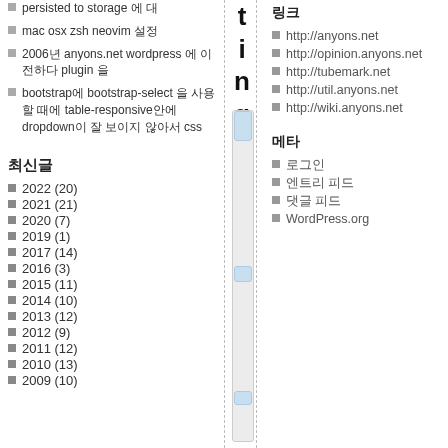persisted to storage 에 대
mac osx zsh neovim 설정
2006년 anyons.net wordpress 에 이전하다 plugin 을
bootstrap에 bootstrap-select 을 사용할 때에 table-responsive안에 dropdown이 잘 보이지 않아서 css
최신글
2022 (20)
2021 (21)
2020 (7)
2019 (1)
2017 (14)
2016 (3)
2015 (11)
2014 (10)
2013 (12)
2012 (9)
2011 (12)
2010 (13)
2009 (10)
링크
http://anyons.net
http://opinion.anyons.net
http://tubemark.net
http://util.anyons.net
http://wiki.anyons.net
메타
로그인
엔트리 피드
댓글 피드
WordPress.org